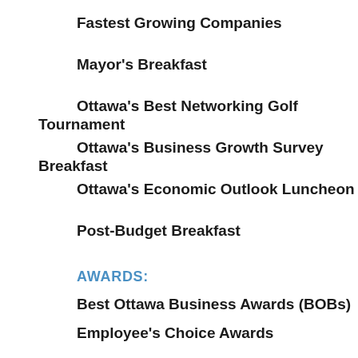Fastest Growing Companies
Mayor's Breakfast
Ottawa's Best Networking Golf Tournament
Ottawa's Business Growth Survey Breakfast
Ottawa's Economic Outlook Luncheon
Post-Budget Breakfast
AWARDS:
Best Ottawa Business Awards (BOBs)
Employee's Choice Awards
Fastest Growing Companies
Forty Under 40